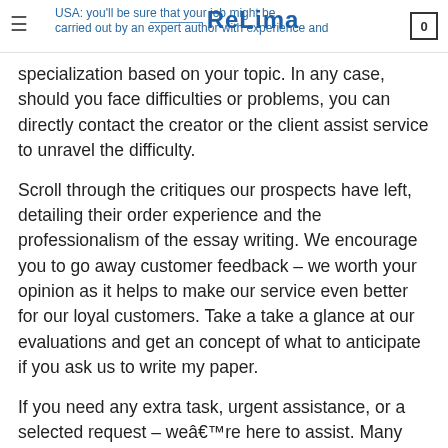ReLima — USA: you'll be sure that your job might be carried out by an expert author with experience and
specialization based on your topic. In any case, should you face difficulties or problems, you can directly contact the creator or the client assist service to unravel the difficulty.
Scroll through the critiques our prospects have left, detailing their order experience and the professionalism of the essay writing. We encourage you to go away customer feedback – we worth your opinion as it helps to make our service even better for our loyal customers. Take a take a glance at our evaluations and get an concept of what to anticipate if you ask us to write my paper.
If you need any extra task, urgent assistance, or a selected request – weâre here to assist. Many students additionally enjoy our loyalty program and discount presents. If you may be on a seek for a reliable, honest, and most importantly,